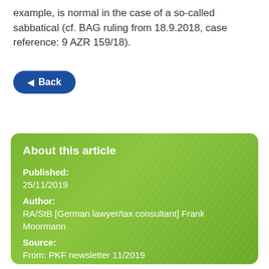example, is normal in the case of a so-called sabbatical (cf. BAG ruling from 18.9.2018, case reference: 9 AZR 159/18).
◄ Back
About this article
Published:
25/11/2019
Author:
RA/StB [German lawyer/tax consultant] Frank Moormann
Source:
From: PKF newsletter 11/2019
German update   News